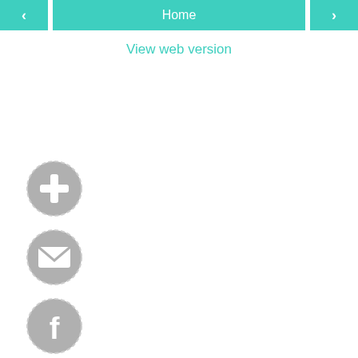< Home >
View web version
[Figure (illustration): Five circular social/action icon buttons with dashed borders on gray background: plus/add, email/envelope, Facebook, Google+, Instagram, arranged vertically on the left side]